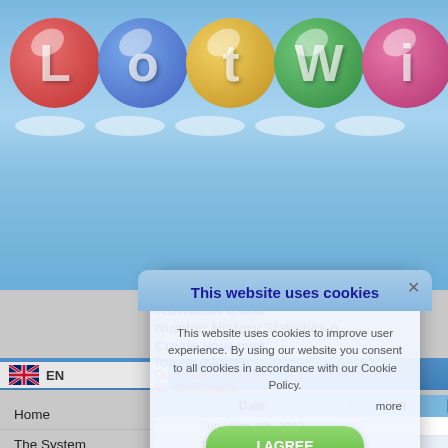[Figure (screenshot): LotWin website header with colorful lottery balls spelling 'LotWin' on a blue gradient background]
EN
Home
The System
How it Works
Result Analysis
5 Ball Lotteries
6 Ball Lotteries
Lottery to play Now
Screen Shots
Cafe/Video Lotwin
LotWin TV
Romana Loto
Number History Statistics o
Create your own
for your lotter
Download our pr
for the Romana
| Number History | Number Frequency | Lo Fi |
| --- | --- | --- |
| Date | Wi |
| Sun, Sep 09, 2012 |  |
| Thu, Sep 06, 2012 |  |
| Sun, Sep 02, 2012 |  |
| Thu, Aug 30, 2012 |  |
[Figure (screenshot): Cookie consent dialog overlay with title 'This website uses cookies', body text, and green 'I AGREE' button]